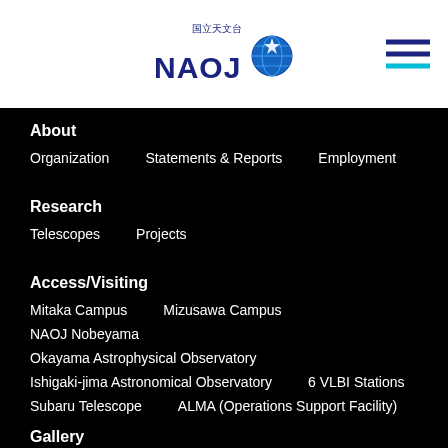[Figure (logo): NAOJ (National Astronomical Observatory of Japan) logo with stylized globe/star icon and text 国立天文台]
About
Organization
Statements & Reports
Employment
Research
Telescopes
Projects
Access/Visiting
Mitaka Campus
Mizusawa Campus
NAOJ Nobeyama
Okayama Astrophysical Observatory
Ishigaki-jima Astronomical Observatory
6 VLBI Stations
Subaru Telescope
ALMA (Operations Support Facility)
Gallery